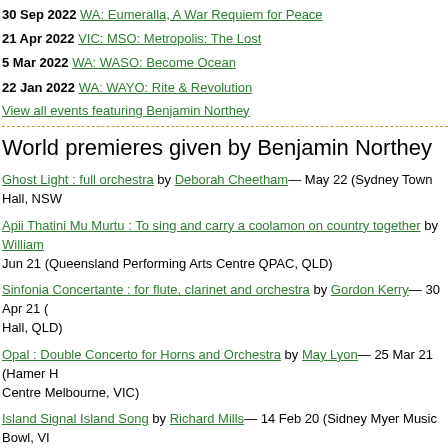30 Sep 2022 WA: Eumeralla, A War Requiem for Peace
21 Apr 2022 VIC: MSO: Metropolis: The Lost
5 Mar 2022 WA: WASO: Become Ocean
22 Jan 2022 WA: WAYO: Rite & Revolution
View all events featuring Benjamin Northey
World premieres given by Benjamin Northey
Ghost Light : full orchestra by Deborah Cheetham— May 22 (Sydney Town Hall, NSW
Apii Thatini Mu Murtu : To sing and carry a coolamon on country together by William Jun 21 (Queensland Performing Arts Centre QPAC, QLD)
Sinfonia Concertante : for flute, clarinet and orchestra by Gordon Kerry— 30 Apr 21 ( Hall, QLD)
Opal : Double Concerto for Horns and Orchestra by May Lyon— 25 Mar 21 (Hamer H Centre Melbourne, VIC)
Island Signal Island Song by Richard Mills— 14 Feb 20 (Sidney Myer Music Bowl, VI
Concerto for soprano saxophone and orchestra (saxophone with orchestra) by Matth 25 Aug 19 (Federation Concert Hall, Hobart, TAS)